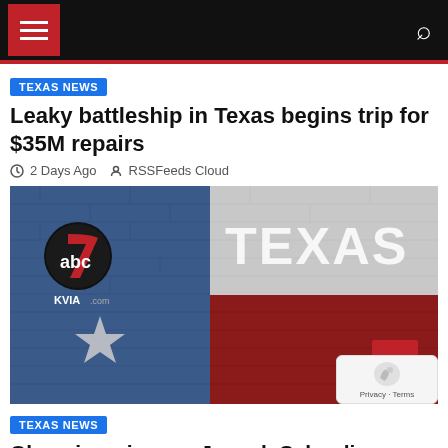Navigation header with menu and search icons
TEXAS NEWS
Leaky battleship in Texas begins trip for $35M repairs
2 Days Ago  RSSFeeds Cloud
[Figure (photo): ABC7 KVIA.com Texas news logo overlaid on a Texas flag mural painted on a brick wall, showing the flag's blue stripe with white star on left and red/white stripes on right, with TEXAS text.]
TEXAS NEWS
Olympic swimmer, Joseph Schooling admits